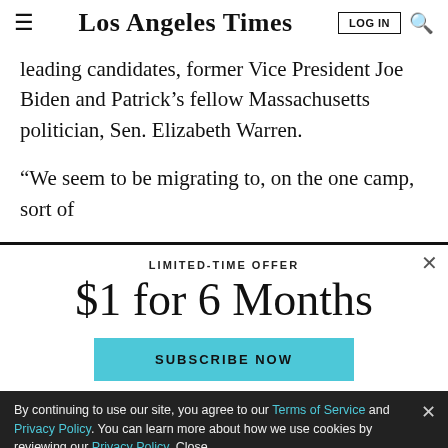Los Angeles Times | LOG IN | Search
leading candidates, former Vice President Joe Biden and Patrick’s fellow Massachusetts politician, Sen. Elizabeth Warren.
“We seem to be migrating to, on the one camp, sort of
LIMITED-TIME OFFER
$1 for 6 Months
SUBSCRIBE NOW
By continuing to use our site, you agree to our Terms of Service and Privacy Policy. You can learn more about how we use cookies by reviewing our Privacy Policy. Close